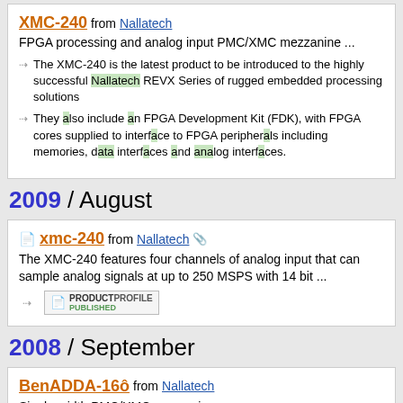XMC-240 from Nallatech — FPGA processing and analog input PMC/XMC mezzanine ...
The XMC-240 is the latest product to be introduced to the highly successful Nallatech REVX Series of rugged embedded processing solutions
They also include an FPGA Development Kit (FDK), with FPGA cores supplied to interface to FPGA peripherals including memories, data interfaces and analog interfaces.
2009 / August
xmc-240 from Nallatech — The XMC-240 features four channels of analog input that can sample analog signals at up to 250 MSPS with 14 bit ...
[Figure (other): Product Profile Published badge/button]
2008 / September
BenADDA-16ô from Nallatech — Single-width PMC/XMC mezzanine ...